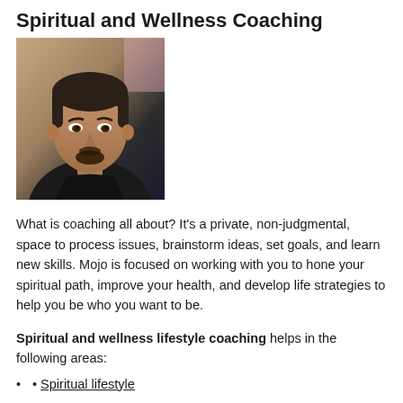Spiritual and Wellness Coaching
[Figure (photo): Headshot of a man with short dark hair and a goatee, wearing a dark t-shirt, photographed indoors with a blurred background.]
What is coaching all about? It's a private, non-judgmental, space to process issues, brainstorm ideas, set goals, and learn new skills. Mojo is focused on working with you to hone your spiritual path, improve your health, and develop life strategies to help you be who you want to be.
Spiritual and wellness lifestyle coaching helps in the following areas:
Spiritual lifestyle